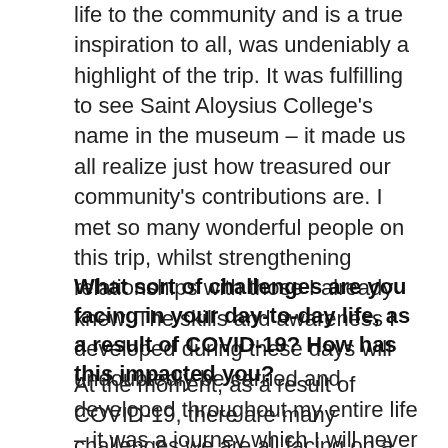life to the community and is a true inspiration to all, was undeniably a highlight of the trip. It was fulfilling to see Saint Aloysius College's name in the museum – it made us all realize just how treasured our community's contributions are. I met so many wonderful people on this trip, whilst strengthening relationships with those I already knew. The skills and awareness I developed during these days will undoubtedly be carried and developed throughout my entire life – it was a journey which I will never forget.
What sort of challenges are you facing in your day-to-day life, as a result of COVID-19? How has this impacted you?
At the moment, as a result of COVID-19, there are many challenges we are all facing on a day-to-day basis. Whether it being something as simple as going to the shops or getting some fresh air by the beach, COVID-19 has completely changed the way we go about or lives